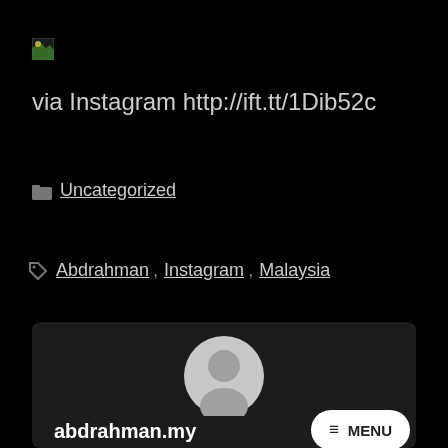[Figure (illustration): Broken image icon with green/white gradient in top-left corner]
via Instagram http://ift.tt/1Dib52c
Uncategorized
Abdrahman  Instagram  Malaysia
[Figure (screenshot): Website footer card showing abdrahman.my site with avatar placeholder, site name, and MENU button overlay]